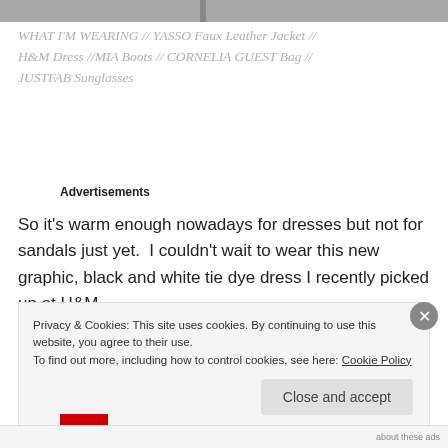[Figure (photo): Top portion of a photograph, showing a gray background/surface]
WHAT I'M WEARING // YASSO Faux Leather Jacket // H&M Dress //MIA Boots // CORNELIA GUEST Bag // JUSTFAB Sunglasses
Advertisements
So it's warm enough nowadays for dresses but not for sandals just yet.  I couldn't wait to wear this new graphic, black and white tie dye dress I recently picked up at H&M
Privacy & Cookies: This site uses cookies. By continuing to use this website, you agree to their use.
To find out more, including how to control cookies, see here: Cookie Policy
Close and accept